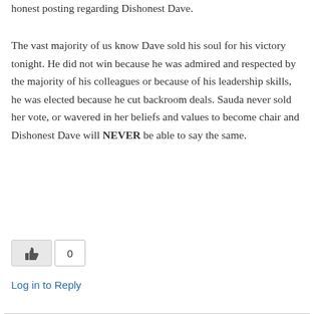honest posting regarding Dishonest Dave.
The vast majority of us know Dave sold his soul for his victory tonight. He did not win because he was admired and respected by the majority of his colleagues or because of his leadership skills, he was elected because he cut backroom deals. Sauda never sold her vote, or wavered in her beliefs and values to become chair and Dishonest Dave will NEVER be able to say the same.
0
Log in to Reply